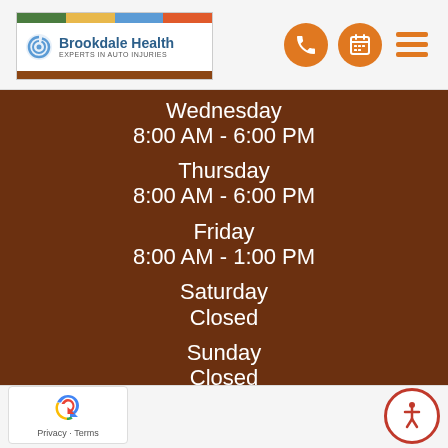[Figure (logo): Brookdale Health logo with colorful top bar - Experts in Auto Injuries]
[Figure (infographic): Navigation icons: phone, calendar, and hamburger menu in orange circles]
Wednesday
8:00 AM - 6:00 PM
Thursday
8:00 AM - 6:00 PM
Friday
8:00 AM - 1:00 PM
Saturday
Closed
Sunday
Closed
[Figure (logo): reCAPTCHA badge with Privacy and Terms links]
[Figure (illustration): Accessibility icon button (person in circle) in red/white]